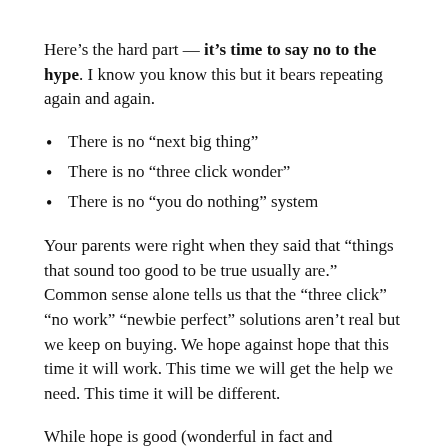Here's the hard part — it's time to say no to the hype. I know you know this but it bears repeating again and again.
There is no “next big thing”
There is no “three click wonder”
There is no “you do nothing” system
Your parents were right when they said that “things that sound too good to be true usually are.” Common sense alone tells us that the “three click” “no work” “newbie perfect” solutions aren’t real but we keep on buying. We hope against hope that this time it will work. This time we will get the help we need. This time it will be different.
While hope is good (wonderful in fact and necessary) the fact is that nothing replaces focus and